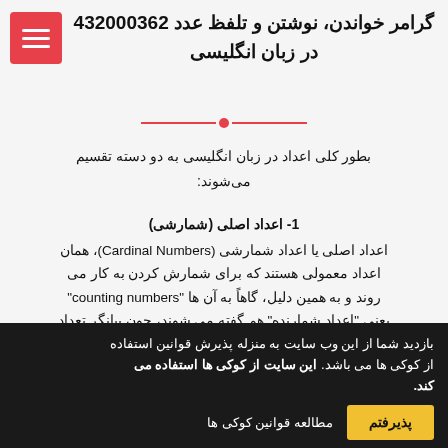گرامر خواندن، نوشتن و تلفظ عدد 432000362 در زبان انگلیسی
بطور کلی اعداد در زبان انگلیسی به دو دسته تقسیم می‌شوند:
1- اعداد اصلی (شمارشی)
اعداد اصلی یا اعداد شمارشی (Cardinal Numbers)، همان اعداد معمولی هستند که برای شمارش کردن به کار می روند و به همین دلیل، گاهاً به آن ها "counting numbers" یعنی "اعداد شمارنده" هم گفته می شوند، چون بیانگر تعداد و کمیت چیزها می‌باشند و در جواب سوال "How many?"
بازدید شما از این وب سایت به منزله پذیرش قوانین استفاده از کوکی ها می باشد. این سایت از کوکی ها استفاده می کند.
مطالعه قوانین کوکی ها | پذیرفتم